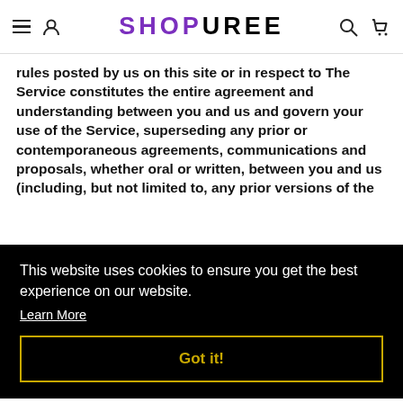SHOPUREE — navigation header with menu, user, search, and cart icons
rules posted by us on this site or in respect to The Service constitutes the entire agreement and understanding between you and us and govern your use of the Service, superseding any prior or contemporaneous agreements, communications and proposals, whether oral or written, between you and us (including, but not limited to, any prior versions of the [Terms of Service]) and any separate agreeing
This website uses cookies to ensure you get the best experience on our website. Learn More
Got it!
These Terms of Service and any separate agreements